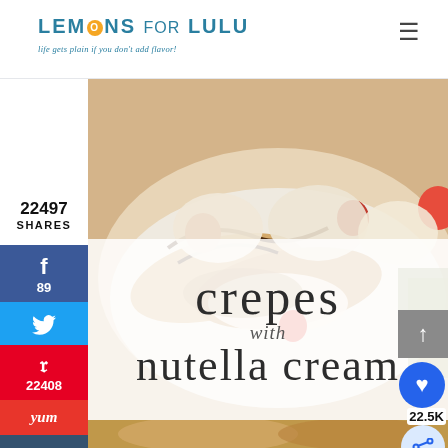LEMONS FOR LULU — life gets plain if you don't add flavor!
22497
SHARES
f
89
🐦
p
22408
yum
t
[Figure (photo): Crepes filled with Nutella cream and strawberries on a white plate, drizzled with chocolate sauce, with text overlay reading 'crepes with nutella cream']
crepes with nutella cream
[Figure (photo): Bottom partial photo of a plate]